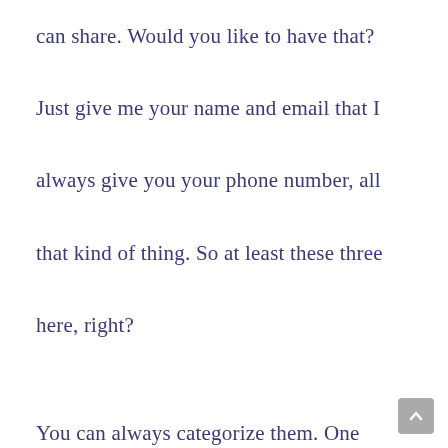can share. Would you like to have that? Just give me your name and email that I always give you your phone number, all that kind of thing. So at least these three here, right?

You can always categorize them. One thing that you do need permission to vote is that these people have given them permission for you to add them to your list. You do not want to be labelled a spammer and I'm not going to shut down